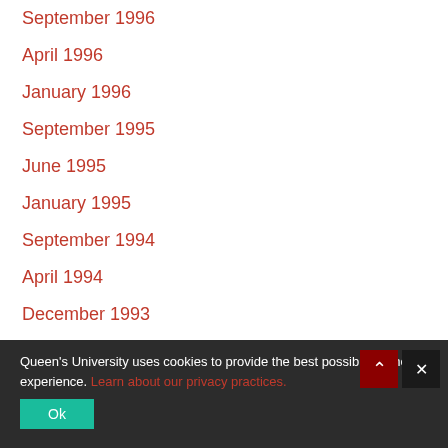September 1996
April 1996
January 1996
September 1995
June 1995
January 1995
September 1994
April 1994
December 1993
November 1993
September 1993
July 1993
June 1993
January 1993
September 1992
Queen's University uses cookies to provide the best possible online experience. Learn about our privacy practices.